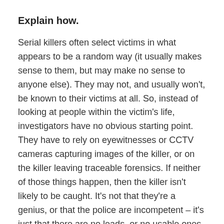Explain how.
Serial killers often select victims in what appears to be a random way (it usually makes sense to them, but may make no sense to anyone else). They may not, and usually won't, be known to their victims at all. So, instead of looking at people within the victim's life, investigators have no obvious starting point. They have to rely on eyewitnesses or CCTV cameras capturing images of the killer, or on the killer leaving traceable forensics. If neither of those things happen, then the killer isn't likely to be caught. It's not that they're a genius, or that the police are incompetent – it's just that there are no leads, or no usable ones.
Serial killers kill people they haven't previously known, generally. Not always, and there are plenty